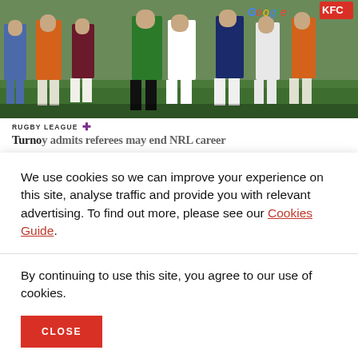[Figure (photo): Rugby league players on a field, showing legs and lower bodies of multiple players in various team jerseys including orange, dark navy, white, and black. A referee in green is visible in the center.]
RUGBY LEAGUE ✦
Turno y admits referees may end NRL career
We use cookies so we can improve your experience on this site, analyse traffic and provide you with relevant advertising. To find out more, please see our Cookies Guide.
By continuing to use this site, you agree to our use of cookies.
CLOSE
[Figure (photo): Partial photo showing rugby players in blue and yellow jerseys at the bottom of the page.]